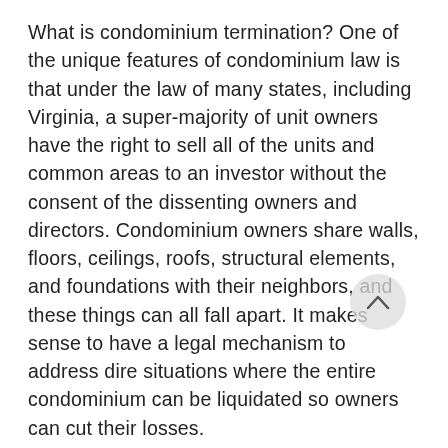What is condominium termination? One of the unique features of condominium law is that under the law of many states, including Virginia, a super-majority of unit owners have the right to sell all of the units and common areas to an investor without the consent of the dissenting owners and directors. Condominium owners share walls, floors, ceilings, roofs, structural elements, and foundations with their neighbors, and these things can all fall apart. It makes sense to have a legal mechanism to address dire situations where the entire condominium can be liquidated so owners can cut their losses.
These legal procedures typically start with a super-majority, usually it is around 80%, adopting a formal plan of termination. Usually the Board of Directors of the association becomes the trustee of all of the property in